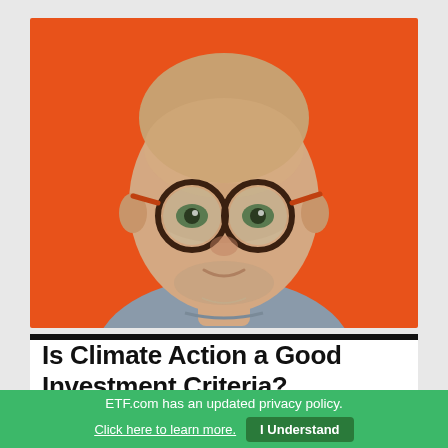[Figure (photo): Headshot of a bald middle-aged man with round dark-rimmed glasses, short stubble beard, wearing a grey shirt, smiling slightly against a bright orange background.]
Is Climate Action a Good Investment Criteria?
ETF.com has an updated privacy policy.
Click here to learn more.  I Understand